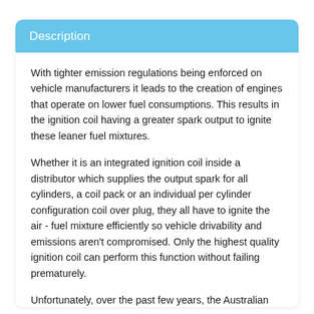Description
With tighter emission regulations being enforced on vehicle manufacturers it leads to the creation of engines that operate on lower fuel consumptions. This results in the ignition coil having a greater spark output to ignite these leaner fuel mixtures.
Whether it is an integrated ignition coil inside a distributor which supplies the output spark for all cylinders, a coil pack or an individual per cylinder configuration coil over plug, they all have to ignite the air - fuel mixture efficiently so vehicle drivability and emissions aren't compromised. Only the highest quality ignition coil can perform this function without failing prematurely.
Unfortunately, over the past few years, the Australian aftermarket has seen a significant increase in inferior quality